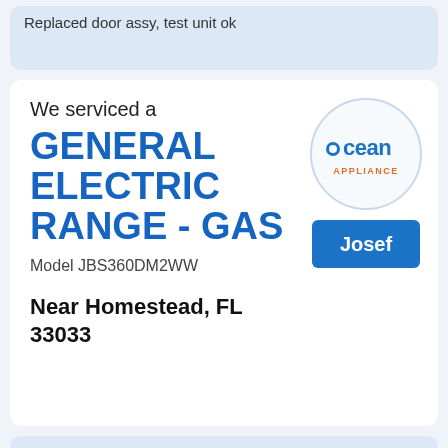Replaced door assy, test unit ok
We serviced a
GENERAL ELECTRIC RANGE - GAS
[Figure (logo): Ocean Appliance circular logo with blue text and orange APPLIANCE text]
Model JBS360DM2WW
Josef
Near Homestead, FL 33033
Job Details:
08/17/2021